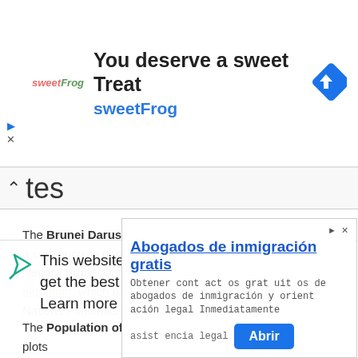[Figure (screenshot): SweetFrog advertisement banner with logo, 'You deserve a sweet Treat' headline, 'sweetFrog' subheading, and navigation diamond icon]
tes
The Brunei Darussalam Population (Live) counter shows a continuously updated estimate of the current population of Negara Brunei Darussalam delivered by Worldometer's RTS algorithm, which processes data collected from the United Nations Population Division.
The Population of Brunei Darussalam (1950 - 2019) chart plots to
This website uses cookies to ensure you get the best experience on our website.  Learn more
[Figure (screenshot): Advertisement for 'Abogados de inmigración gratis' with body text 'Obtener contactos gratuitos de abogados de inmigración y orientación legal Inmediatamente', input field 'asistencia legal', and 'Abrir' button]